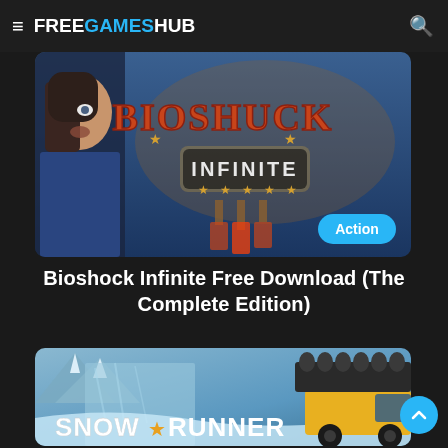FREE GAMES HUB
[Figure (screenshot): Bioshock Infinite game cover art showing a female character on left and ornate Bioshock Infinite logo on blue/dark background, with an 'Action' badge in bottom right corner]
Bioshock Infinite Free Download (The Complete Edition)
[Figure (screenshot): SnowRunner game cover art showing snowy mountain landscape with icy terrain and a yellow heavy truck with large barrel attachment on right side, 'SNOW RUNNER' text with star in large white letters at bottom]